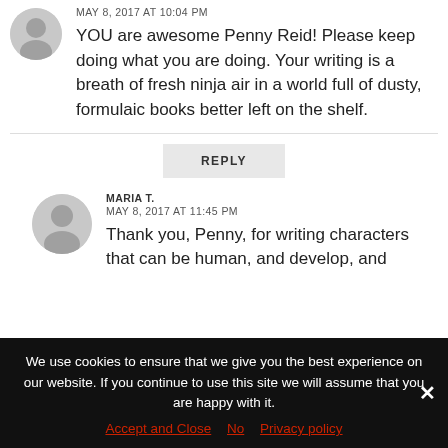MAY 8, 2017 AT 10:04 PM
YOU are awesome Penny Reid! Please keep doing what you are doing. Your writing is a breath of fresh ninja air in a world full of dusty, formulaic books better left on the shelf.
REPLY
MARIA T.
MAY 8, 2017 AT 11:45 PM
Thank you, Penny, for writing characters that can be human, and develop, and
We use cookies to ensure that we give you the best experience on our website. If you continue to use this site we will assume that you are happy with it.
Accept and Close   No   Privacy policy